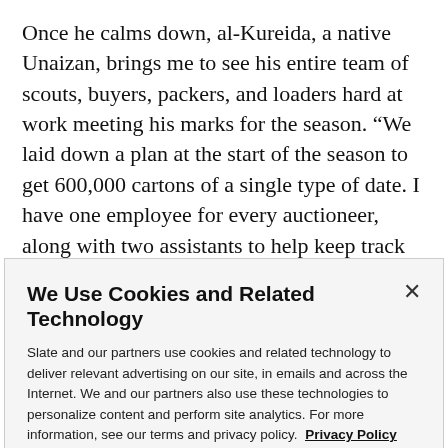Once he calms down, al-Kureida, a native Unaizan, brings me to see his entire team of scouts, buyers, packers, and loaders hard at work meeting his marks for the season. “We laid down a plan at the start of the season to get 600,000 cartons of a single type of date. I have one employee for every auctioneer, along with two assistants to help keep track of prices and number of cartons.”
We Use Cookies and Related Technology
Slate and our partners use cookies and related technology to deliver relevant advertising on our site, in emails and across the Internet. We and our partners also use these technologies to personalize content and perform site analytics. For more information, see our terms and privacy policy.  Privacy Policy
OK